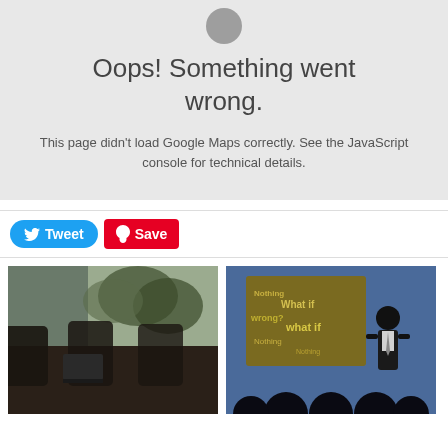[Figure (screenshot): Error state showing a grey circle icon at top, large text 'Oops! Something went wrong.' and smaller text 'This page didn't load Google Maps correctly. See the JavaScript console for technical details.' on a light grey background]
Tweet
Save
[Figure (photo): Conference room with dark chairs and table, large windows showing trees outside]
[Figure (illustration): Business presentation scene with silhouette of presenter in front of a board covered in text saying 'Nothing Wrong', 'What if', etc., with audience silhouettes in foreground, blue background]